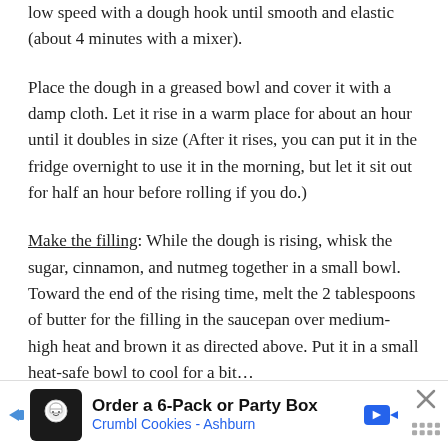low speed with a dough hook until smooth and elastic (about 4 minutes with a mixer).
Place the dough in a greased bowl and cover it with a damp cloth. Let it rise in a warm place for about an hour until it doubles in size (After it rises, you can put it in the fridge overnight to use it in the morning, but let it sit out for half an hour before rolling if you do.)
Make the filling: While the dough is rising, whisk the sugar, cinnamon, and nutmeg together in a small bowl. Toward the end of the rising time, melt the 2 tablespoons of butter for the filling in the saucepan over medium-high heat and brown it as directed above. Put it in a small heat-safe bowl to cool for a bit...
Order a 6-Pack or Party Box
Crumbl Cookies - Ashburn